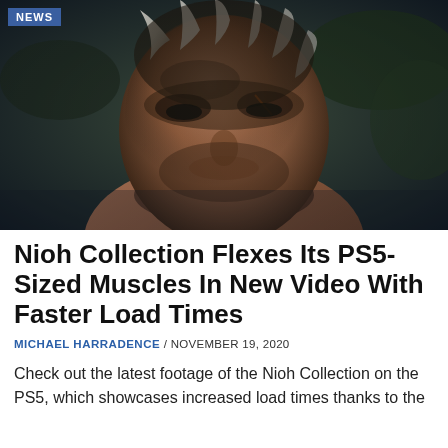[Figure (photo): Close-up of a video game character with white/grey hair and facial stubble, looking downward in a dark cinematic scene. A 'NEWS' badge is overlaid in the top-left corner.]
Nioh Collection Flexes Its PS5-Sized Muscles In New Video With Faster Load Times
MICHAEL HARRADENCE / NOVEMBER 19, 2020
Check out the latest footage of the Nioh Collection on the PS5, which showcases increased load times thanks to the